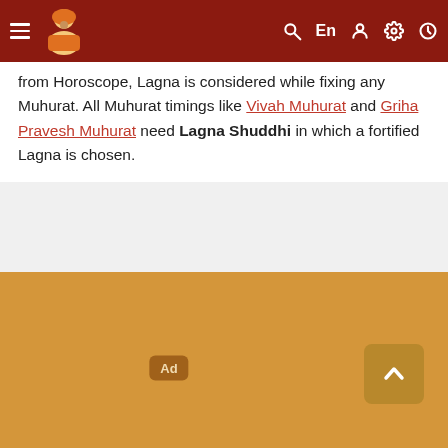Navigation header with menu, logo, search, language (En), user, settings, and clock icons
from Horoscope, Lagna is considered while fixing any Muhurat. All Muhurat timings like Vivah Muhurat and Griha Pravesh Muhurat need Lagna Shuddhi in which a fortified Lagna is chosen.
[Figure (other): Advertisement placeholder area with golden/tan background, an 'Ad' badge label and a scroll-to-top button with upward chevron arrow]